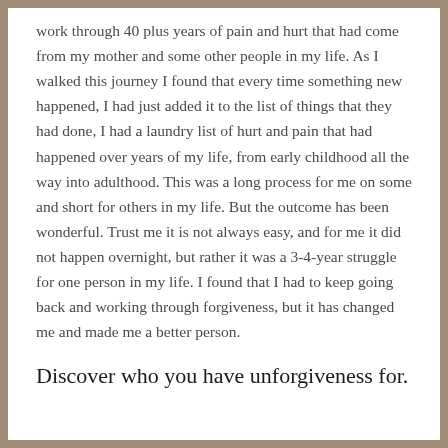work through 40 plus years of pain and hurt that had come from my mother and some other people in my life. As I walked this journey I found that every time something new happened, I had just added it to the list of things that they had done, I had a laundry list of hurt and pain that had happened over years of my life, from early childhood all the way into adulthood. This was a long process for me on some and short for others in my life. But the outcome has been wonderful. Trust me it is not always easy, and for me it did not happen overnight, but rather it was a 3-4-year struggle for one person in my life. I found that I had to keep going back and working through forgiveness, but it has changed me and made me a better person.
Discover who you have unforgiveness for.